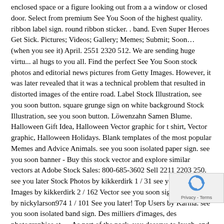enclosed space or a figure looking out from a a window or closed door. Select from premium See You Soon of the highest quality. ribbon label sign. round ribbon sticker. . band. Even Super Heroes Get Sick. Pictures; Videos; Gallery; Memes; Submit; Soon… (when you see it) April. 2551 2320 512. We are sending huge virtu... al hugs to you all. Find the perfect See You Soon stock photos and editorial news pictures from Getty Images. However, it was later revealed that it was a technical problem that resulted in distorted images of the entire road. Label Stock Illustration, see you soon button. square grunge sign on white background Stock Illustration, see you soon button. Löwenzahn Samen Blume. Halloween Gift Idea, Halloween Vector graphic for t shirt, Vector graphic, Halloween Holidays. Blank templates of the most popular Memes and Advice Animals. see you soon isolated paper sign. see you soon banner - Buy this stock vector and explore similar vectors at Adobe Stock Sales: 800-685-3602 Sell 2211 2203 250. see you later Stock Photos by kikkerdirk 1 / 31 see you later Stock Images by kikkerdirk 2 / 162 Vector see you soon signpost Pictures by nickylarson974 1 / 101 See you later! Top Users by Karma. see you soon isolated band sign. Des milliers d'images, des photographies et … As part of the pack, you deserve to laugh, and laugh you will at these ridiculous canines. similar meaning Lists. Browse 5,146 see you soon stock photos and images available, or search for saying goodbye or farewell party to more great stock photos and pictures. Learn more. Picture by
[Figure (logo): reCAPTCHA privacy badge showing blue recycling-arrow icon with 'Privacy - Terms' text below]